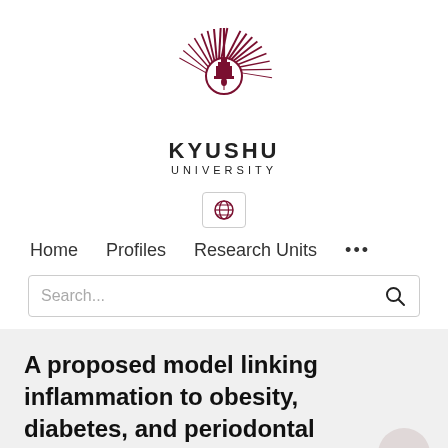[Figure (logo): Kyushu University logo — dark red/maroon sunburst emblem with building/tower motif in center circle]
KYUSHU UNIVERSITY
[Figure (other): Globe icon inside a bordered box representing language/region selector]
Home   Profiles   Research Units   ...
Search...
A proposed model linking inflammation to obesity, diabetes, and periodontal infections